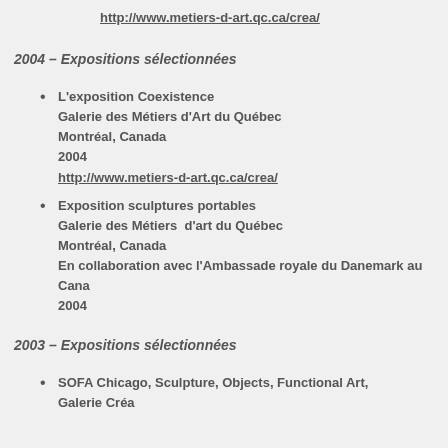http://www.metiers-d-art.qc.ca/crea/
2004 – Expositions sélectionnées
L'exposition Coexistence
Galerie des Métiers d'Art du Québec
Montréal, Canada
2004
http://www.metiers-d-art.qc.ca/crea/
Exposition sculptures portables
Galerie des Métiers  d'art du Québec
Montréal, Canada
En collaboration avec l'Ambassade royale du Danemark au Canada
2004
2003 – Expositions sélectionnées
SOFA Chicago, Sculpture, Objects, Functional Art,
Galerie Créa